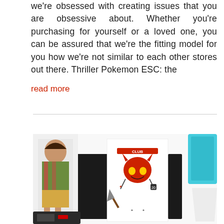we're obsessed with creating issues that you are obsessive about. Whether you're purchasing for yourself or a loved one, you can be assured that we're the fitting model for you how we're not similar to each other stores out there. Thriller Pokemon ESC: the
read more
[Figure (photo): Product collage showing a cartoon figurine, a black and white long-sleeve shirt with a devil/club graphic, and a teal/blue item in the top right corner, with a dark item at the bottom left.]